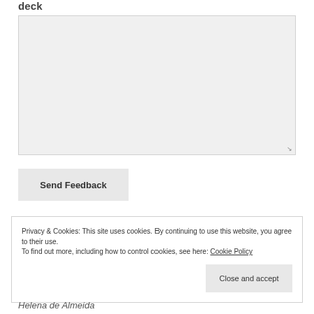deck
[Figure (other): Empty text area input box with resize handle at bottom right]
Send Feedback
Privacy & Cookies: This site uses cookies. By continuing to use this website, you agree to their use.
To find out more, including how to control cookies, see here: Cookie Policy
Close and accept
Helena de Almeida